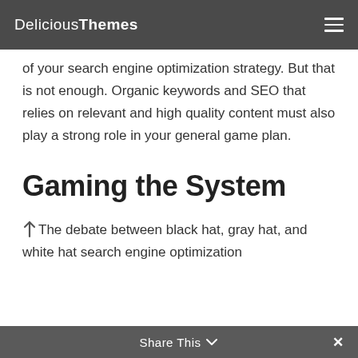DeliciousThemes
of your search engine optimization strategy. But that is not enough. Organic keywords and SEO that relies on relevant and high quality content must also play a strong role in your general game plan.
Gaming the System
The debate between black hat, gray hat, and white hat search engine optimization
Share This